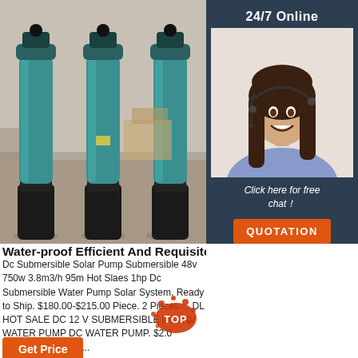[Figure (photo): Three teal/blue submersible water pumps standing upright on a factory floor, with black bases, in an industrial warehouse setting]
[Figure (photo): Sidebar panel with dark navy background showing '24/7 Online' text, a customer service representative woman wearing a headset smiling, italic text 'Click here for free chat!', and an orange QUOTATION button]
Water-proof Efficient And Requisite submersib
Dc Submersible Solar Pump Submersible 48v 750w 3.8m3/h 95m Hot Slaes 1hp Dc Submersible Water Pump Solar System. Ready to Ship. $180.00-$215.00 Piece. 2 Pieces ... DL HOT SALE DC 12 V SUBMERSIBLE DC 24V WATER PUMP DC WATER PUMP. $2.00 Piece. 100 Pieces ...
[Figure (logo): Orange TOP badge/watermark with splatter design]
Get Price